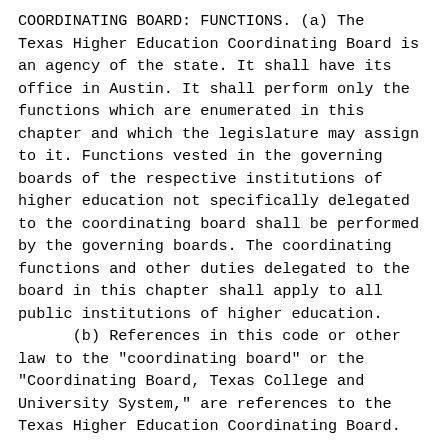COORDINATING BOARD: FUNCTIONS. (a) The Texas Higher Education Coordinating Board is an agency of the state. It shall have its office in Austin. It shall perform only the functions which are enumerated in this chapter and which the legislature may assign to it. Functions vested in the governing boards of the respective institutions of higher education not specifically delegated to the coordinating board shall be performed by the governing boards. The coordinating functions and other duties delegated to the board in this chapter shall apply to all public institutions of higher education.
      (b) References in this code or other law to the "coordinating board" or the "Coordinating Board, Texas College and University System," are references to the Texas Higher Education Coordinating Board.